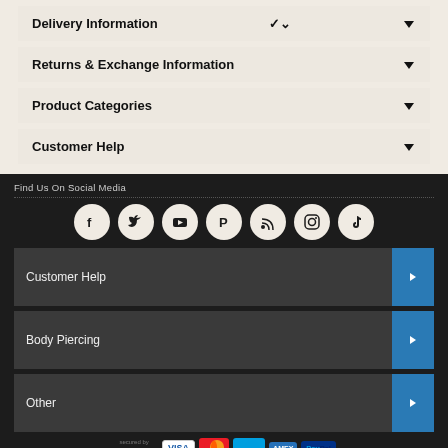Delivery Information
Returns & Exchange Information
Product Categories
Customer Help
Find Us On Social Media
[Figure (infographic): Social media icons: Facebook, Twitter, YouTube, Pinterest, RSS, Instagram, TikTok]
Customer Help
Body Piercing
Other
[Figure (infographic): Payment method logos: SagePay, Visa, Mastercard, Maestro, American Express, PayPal]
Copyright © 2022 Arcadant BV Limited.
Reg No:12150369 Vat No:GB340653518 +44 (0) 1579 341907